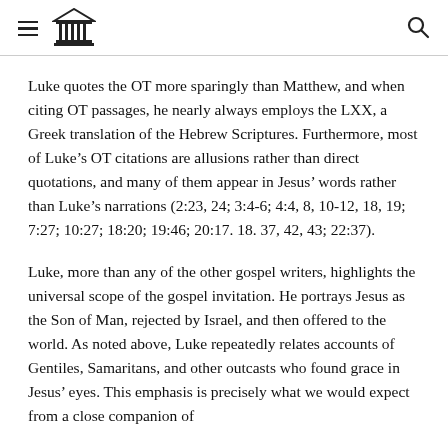[hamburger menu] [temple logo] [search icon]
Luke quotes the OT more sparingly than Matthew, and when citing OT passages, he nearly always employs the LXX, a Greek translation of the Hebrew Scriptures. Furthermore, most of Luke’s OT citations are allusions rather than direct quotations, and many of them appear in Jesus’ words rather than Luke’s narrations (2:23, 24; 3:4-6; 4:4, 8, 10-12, 18, 19; 7:27; 10:27; 18:20; 19:46; 20:17. 18. 37, 42, 43; 22:37).
Luke, more than any of the other gospel writers, highlights the universal scope of the gospel invitation. He portrays Jesus as the Son of Man, rejected by Israel, and then offered to the world. As noted above, Luke repeatedly relates accounts of Gentiles, Samaritans, and other outcasts who found grace in Jesus’ eyes. This emphasis is precisely what we would expect from a close companion of